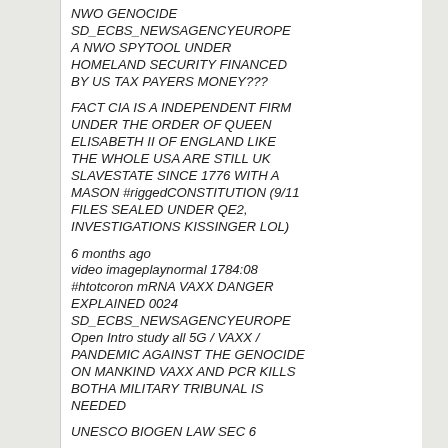NWO GENOCIDE SD_ECBS_NEWSAGENCYEUROPE A NWO SPYTOOL UNDER HOMELAND SECURITY FINANCED BY US TAX PAYERS MONEY???
FACT CIA IS A INDEPENDENT FIRM UNDER THE ORDER OF QUEEN ELISABETH II OF ENGLAND LIKE THE WHOLE USA ARE STILL UK SLAVESTATE SINCE 1776 WITH A MASON #riggedCONSTITUTION (9/11 FILES SEALED UNDER QE2, INVESTIGATIONS KISSINGER LOL)
6 months ago
video imageplaynormal 1784:08
#htotcoron mRNA VAXX DANGER EXPLAINED 0024
SD_ECBS_NEWSAGENCYEUROPE
Open Intro study all 5G / VAXX / PANDEMIC AGAINST THE GENOCIDE ON MANKIND VAXX AND PCR KILLS BOTHA MILITARY TRIBUNAL IS NEEDED
UNESCO BIOGEN LAW SEC 6
Its all about 5g danger shielded by a chinese Lab made virus damaging same (bloodcloths) easy to handle with asperine after you switched off